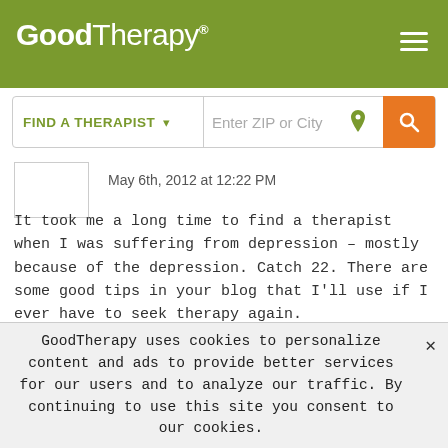[Figure (screenshot): GoodTherapy website header with olive-green background showing bold logo text 'GoodTherapy' with registered trademark symbol and hamburger menu icon]
[Figure (screenshot): Search bar with 'FIND A THERAPIST' dropdown and 'Enter ZIP or City' input field with location icon and orange search button]
[Figure (screenshot): Comment avatar placeholder box]
May 6th, 2012 at 12:22 PM
It took me a long time to find a therapist when I was suffering from depression – mostly because of the depression. Catch 22. There are some good tips in your blog that I'll use if I ever have to seek therapy again.
Reply
[Figure (screenshot): Second comment avatar with broken image icon]
Theo Bernard
GoodTherapy uses cookies to personalize content and ads to provide better services for our users and to analyze our traffic. By continuing to use this site you consent to our cookies.